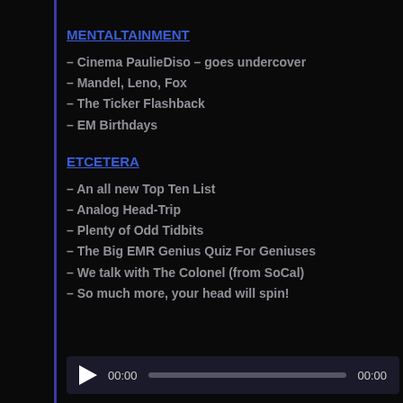MENTALTAINMENT
– Cinema PaulieDiso – goes undercover
– Mandel, Leno, Fox
– The Ticker Flashback
– EM Birthdays
ETCETERA
– An all new Top Ten List
– Analog Head-Trip
– Plenty of Odd Tidbits
– The Big EMR Genius Quiz For Geniuses
– We talk with The Colonel (from SoCal)
– So much more, your head will spin!
[Figure (other): Audio player with play button, time display 00:00, progress bar, and end time 00:00]